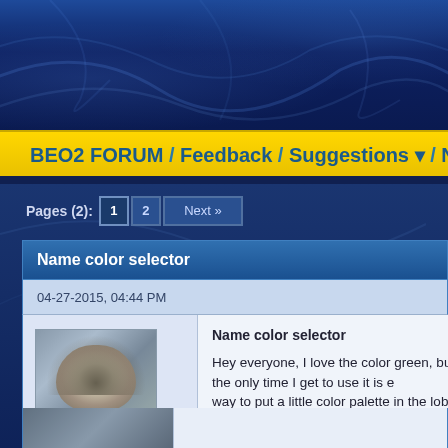BEO2 FORUM / Feedback / Suggestions / Name color selector
Pages (2): 1  2  Next »
Name color selector
04-27-2015, 04:44 PM
Nathan
Grim's Pet Cat
★★★★★
Name color selector

Hey everyone, I love the color green, but the only time I get to use it is e... way to put a little color palette in the lobby so someone can choose their...

[Image: udpoal868c4.gif]